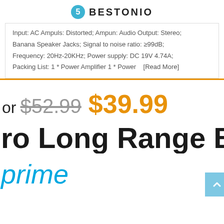BESTONIO
Input: AC Ampuls: Distorted; Ampun: Audio Output: Stereo; Banana Speaker Jacks; Signal to noise ratio: ≥99dB; Frequency: 20Hz-20KHz; Power supply: DC 19V 4.74A; Packing List: 1 * Power Amplifier 1 * Power ... [Read More]
or $52.99 $39.99
ro Long Range Bl
prime